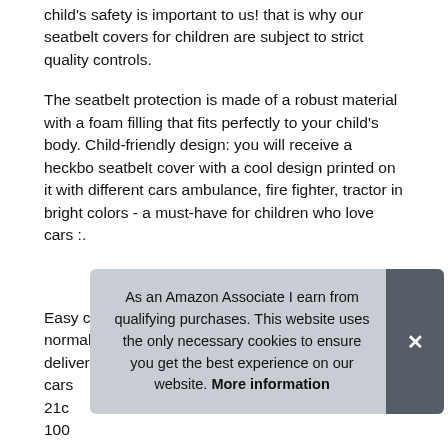child's safety is important to us! that is why our seatbelt covers for children are subject to strict quality controls.
The seatbelt protection is made of a robust material with a foam filling that fits perfectly to your child's body. Child-friendly design: you will receive a heckbo seatbelt cover with a cool design printed on it with different cars ambulance, fire fighter, tractor in bright colors - a must-have for children who love cars :.
More information
Easy cleaning: any soiling of the seatbelt cover can normally be easily wiped away by hand. Scope of delivery: 1x heckbo cars… 21c… 100…
We selected the materials and velcro connection with the
As an Amazon Associate I earn from qualifying purchases. This website uses the only necessary cookies to ensure you get the best experience on our website. More information